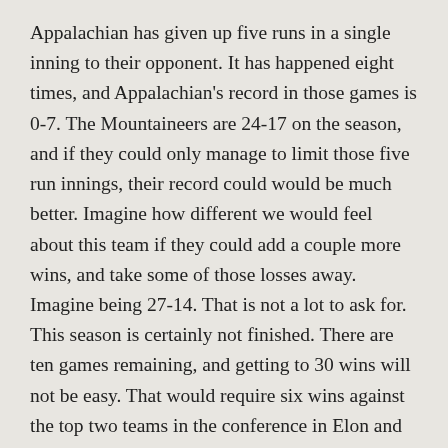Appalachian has given up five runs in a single inning to their opponent. It has happened eight times, and Appalachian's record in those games is 0-7. The Mountaineers are 24-17 on the season, and if they could only manage to limit those five run innings, their record could would be much better. Imagine how different we would feel about this team if they could add a couple more wins, and take some of those losses away. Imagine being 27-14. That is not a lot to ask for.
This season is certainly not finished. There are ten games remaining, and getting to 30 wins will not be easy. That would require six wins against the top two teams in the conference in Elon and Western Carolina, a three games series against West Coast conference leader Gonzaga, and a single game against North Carolina, who has the best record in college baseball